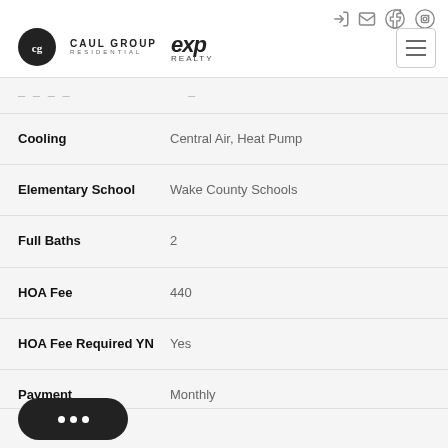Caul Group Residential | eXp Realty
| Field | Value |
| --- | --- |
| Cooling | Central Air, Heat Pump |
| Elementary School | Wake County Schools |
| Full Baths | 2 |
| HOA Fee | 440 |
| HOA Fee Required YN | Yes |
| Payment | Monthly |